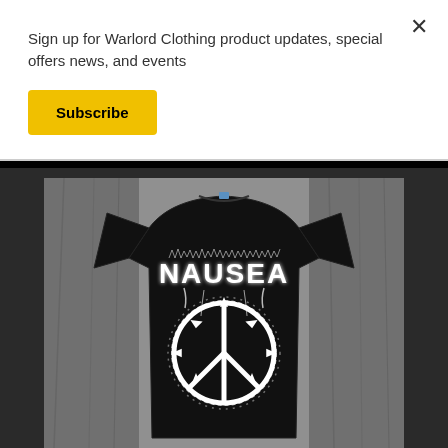Sign up for Warlord Clothing product updates, special offers news, and events
Subscribe
[Figure (photo): Black t-shirt laid flat on a wooden surface. The shirt features the band name NAUSEA in jagged white metal-style lettering above a peace symbol made of thorny chains/vines.]